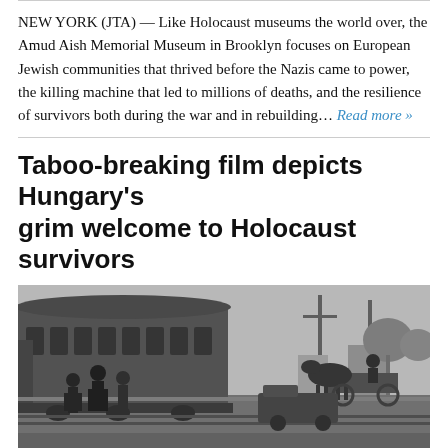NEW YORK (JTA) — Like Holocaust museums the world over, the Amud Aish Memorial Museum in Brooklyn focuses on European Jewish communities that thrived before the Nazis came to power, the killing machine that led to millions of deaths, and the resilience of survivors both during the war and in rebuilding… Read more »
Taboo-breaking film depicts Hungary's grim welcome to Holocaust survivors
[Figure (photo): Black and white historical photograph showing a train station scene with a passenger rail car on the left, several people standing on the platform, a horse-drawn cart in the background right, and utility poles visible. The scene appears to be from mid-20th century Europe.]